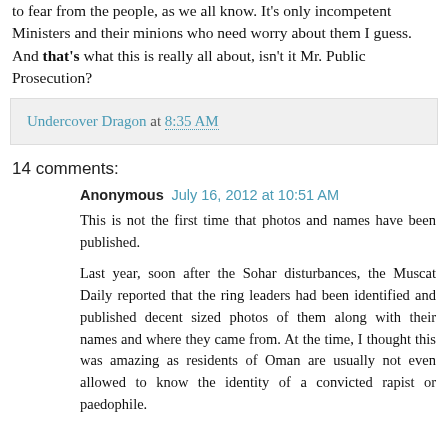to fear from the people, as we all know. It's only incompetent Ministers and their minions who need worry about them I guess. And that's what this is really all about, isn't it Mr. Public Prosecution?
Undercover Dragon at 8:35 AM
14 comments:
Anonymous July 16, 2012 at 10:51 AM
This is not the first time that photos and names have been published.
Last year, soon after the Sohar disturbances, the Muscat Daily reported that the ring leaders had been identified and published decent sized photos of them along with their names and where they came from. At the time, I thought this was amazing as residents of Oman are usually not even allowed to know the identity of a convicted rapist or paedophile.